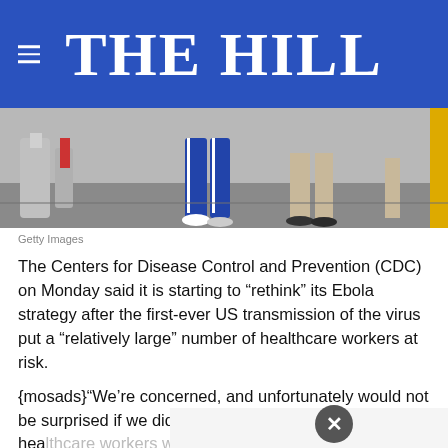THE HILL
[Figure (photo): Photo of people's legs and feet walking, partial view from knees down, taken in a public corridor or building entrance]
Getty Images
The Centers for Disease Control and Prevention (CDC) on Monday said it is starting to “rethink” its Ebola strategy after the first-ever US transmission of the virus put a “relatively large” number of healthcare workers at risk.
{mosads}“We’re concerned, and unfortunately would not be surprised if we did see additional [Ebola] cases in healthcare workers who also provided care to the index